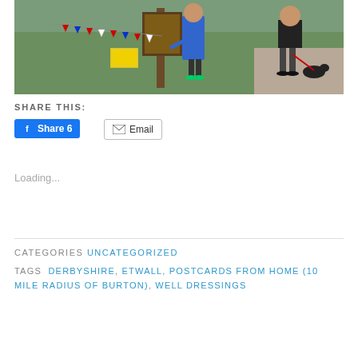[Figure (photo): Outdoor scene with people standing near a wooden post with Union Jack bunting flags, a yellow box visible, one person in a blue jacket and another in dark shorts walking a black dog on a red leash, green grass in background]
SHARE THIS:
Share 6 (Facebook button)
Email (Email button)
Loading...
CATEGORIES UNCATEGORIZED
TAGS DERBYSHIRE, ETWALL, POSTCARDS FROM HOME (10 MILE RADIUS OF BURTON), WELL DRESSINGS